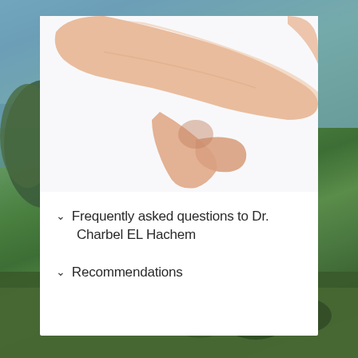[Figure (photo): A woman pinching loose skin on the back of her upper arm against a white background, demonstrating arm fat or excess skin]
Frequently asked questions to Dr. Charbel EL Hachem
Recommendations